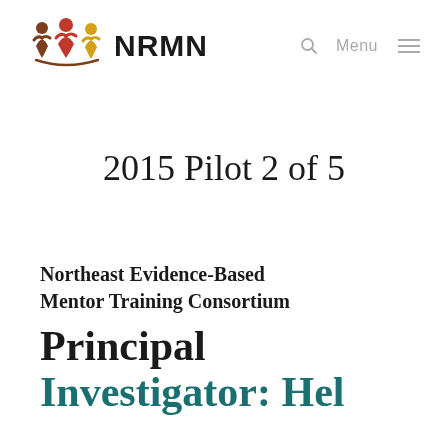NRMN
2015 Pilot 2 of 5
Northeast Evidence-Based Mentor Training Consortium
Principal Investigator: Hel